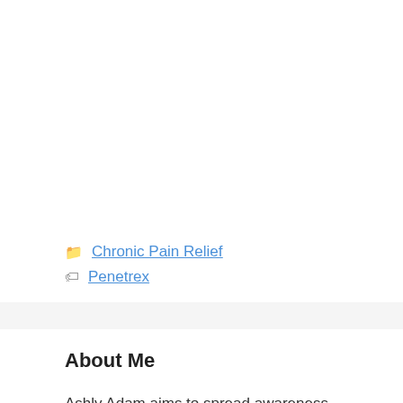Chronic Pain Relief
Penetrex
About Me
Ashly Adam aims to spread awareness about